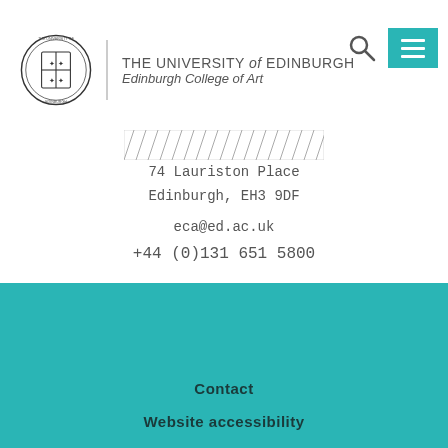[Figure (logo): University of Edinburgh crest/logo with text THE UNIVERSITY of EDINBURGH and Edinburgh College of Art]
[Figure (illustration): Diagonal hatching pattern strip]
74 Lauriston Place
Edinburgh, EH3 9DF
eca@ed.ac.uk
+44 (0)131 651 5800
Contact
Website accessibility